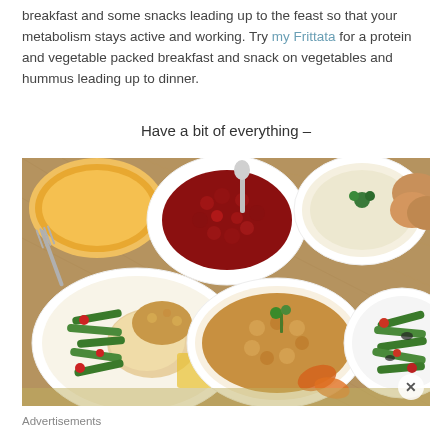breakfast and some snacks leading up to the feast so that your metabolism stays active and working. Try my Frittata for a protein and vegetable packed breakfast and snack on vegetables and hummus leading up to dinner.
Have a bit of everything –
[Figure (photo): Overhead view of a Thanksgiving feast spread on a burlap tablecloth, featuring bowls of cranberry sauce, mashed potatoes, stuffing, green beans, turkey slices, rolls, and soup.]
Advertisements